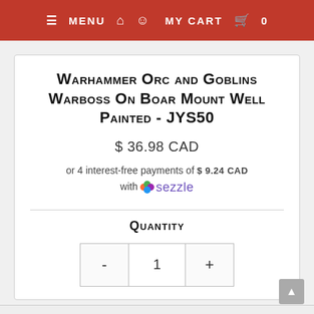≡ MENU  🏠  👤  MY CART  🛒  0
Warhammer Orc and Goblins Warboss On Boar Mount Well Painted - JYS50
$ 36.98 CAD
or 4 interest-free payments of $ 9.24 CAD with Sezzle
Quantity
- 1 +